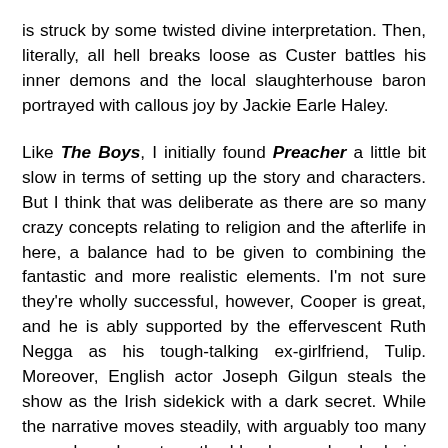is struck by some twisted divine interpretation. Then, literally, all hell breaks loose as Custer battles his inner demons and the local slaughterhouse baron portrayed with callous joy by Jackie Earle Haley.
Like The Boys, I initially found Preacher a little bit slow in terms of setting up the story and characters. But I think that was deliberate as there are so many crazy concepts relating to religion and the afterlife in here, a balance had to be given to combining the fantastic and more realistic elements. I'm not sure they're wholly successful, however, Cooper is great, and he is ably supported by the effervescent Ruth Negga as his tough-talking ex-girlfriend, Tulip. Moreover, English actor Joseph Gilgun steals the show as the Irish sidekick with a dark secret. While the narrative moves steadily, with arguably too many secondary characters, the bloody gore levels during the fight scenes are absolutely spectacular. If, like me, you enjoy irreverent bible-black comedy which offends most religions and contains lashings of ultra-violence, then Preacher is